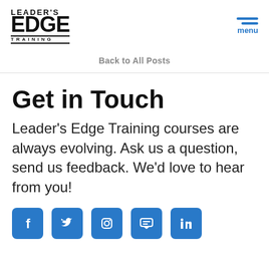[Figure (logo): Leader's Edge Training logo — bold black text with LEADER'S on top, large EDGE below, and TRAINING in small caps with borders]
[Figure (infographic): Hamburger menu icon with two blue horizontal bars and blue 'menu' label]
Back to All Posts
Get in Touch
Leader's Edge Training courses are always evolving. Ask us a question, send us feedback. We'd love to hear from you!
[Figure (infographic): Social media icons row: Facebook, Twitter, Instagram, a messaging icon, and LinkedIn — all in blue rounded squares, partially cropped at bottom]